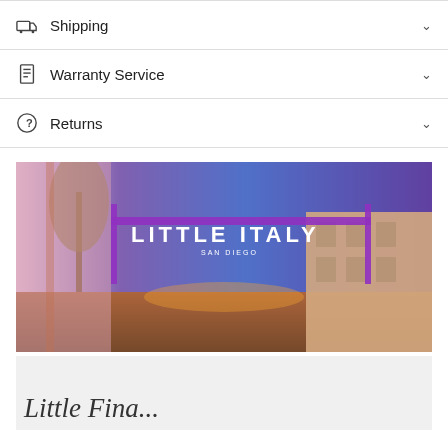Shipping
Warranty Service
Returns
[Figure (photo): Nighttime photo of Little Italy San Diego neighborhood sign illuminated in purple neon lights, with street scene and buildings in background]
Little Fina...